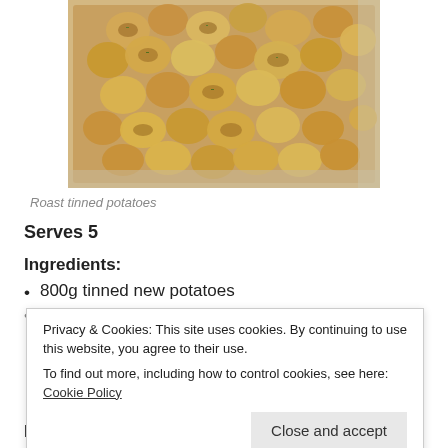[Figure (photo): Photo of roast tinned potatoes in a baking tray, golden brown small potatoes with herbs]
Roast tinned potatoes
Serves 5
Ingredients:
800g tinned new potatoes
40g fresh parsley
Privacy & Cookies: This site uses cookies. By continuing to use this website, you agree to their use.
To find out more, including how to control cookies, see here: Cookie Policy
Method: